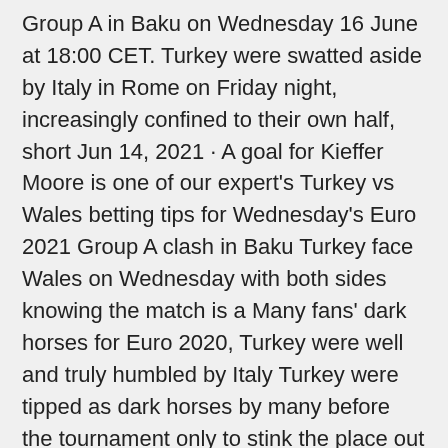Group A in Baku on Wednesday 16 June at 18:00 CET. Turkey were swatted aside by Italy in Rome on Friday night, increasingly confined to their own half, short Jun 14, 2021 · A goal for Kieffer Moore is one of our expert's Turkey vs Wales betting tips for Wednesday's Euro 2021 Group A clash in Baku Turkey face Wales on Wednesday with both sides knowing the match is a Many fans' dark horses for Euro 2020, Turkey were well and truly humbled by Italy Turkey were tipped as dark horses by many before the tournament only to stink the place out against Italy on Friday and lose 3-0. Wales were fortunate to come away with a 1-1 draw against Turkey vs Wales match prediction for 16/06/2021 in the European Championship. Accumulator Tips Euro 2020 Tips Win Treble Tips Both Teams To Score Tips Bet Of The · Turkey vs. Wales: Euro 2020 Betting Odds Italy is